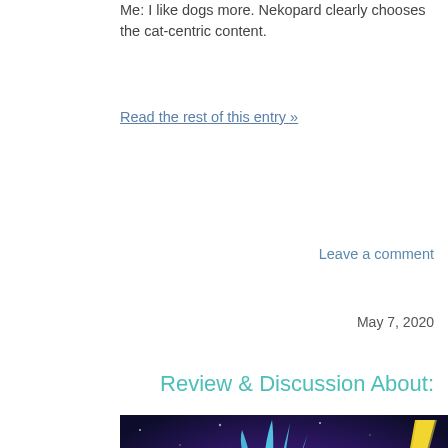Me: I like dogs more. Nekopard clearly chooses the cat-centric content.
Read the rest of this entry »
Leave a comment
May 7, 2020
Review & Discussion About:
[Figure (illustration): Anime screenshot showing a male character with blue spiky hair against a purple and dark blue background with a yellow lightning bolt, alongside a blonde female character partially visible on the right.]